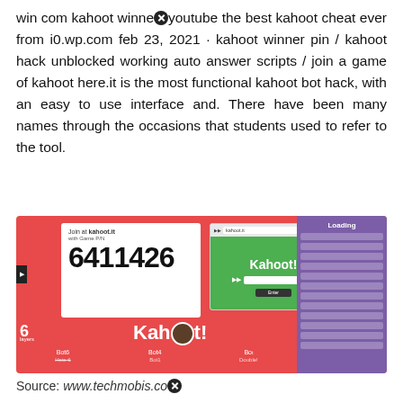win com kahoot winner [close icon] youtube the best kahoot cheat ever from i0.wp.com feb 23, 2021 · kahoot winner pin / kahoot hack unblocked working auto answer scripts / join a game of kahoot here.it is the most functional kahoot bot hack, with an easy to use interface and. There have been many names through the occasions that students used to refer to the tool.
[Figure (screenshot): Screenshot of Kahoot game interface showing a red background with a 'Join at kahoot.it with Game PIN: 6411426' panel, a browser popup showing a green Kahoot login screen, a purple loading panel on the right, and player bots listed at the bottom (Bot6, Bot4, Bot, Hets 6, Bot1, Doubled).]
Source: www.techmobis.co [close icon]